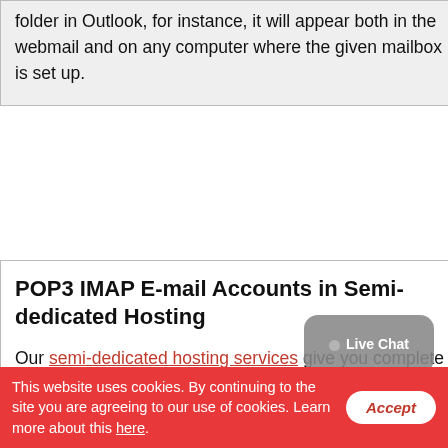folder in Outlook, for instance, it will appear both in the webmail and on any computer where the given mailbox is set up.
POP3 IMAP E-mail Accounts in Semi-dedicated Hosting
Our semi-dedicated hosting services give you complete independence with regard to how and where you can use any email address that you create via our Hepsia Control Panel. As we offer support for both IMAP and POP3, you will be able to create a mailbox on any handheld or desktop device regardless of the OS in use – a desktop computer, a portable computer or a smartphone. You can even download our auto-config files for Apple Mail
This website uses cookies. By continuing to the site you are agreeing to our use of cookies. Learn more about this here.